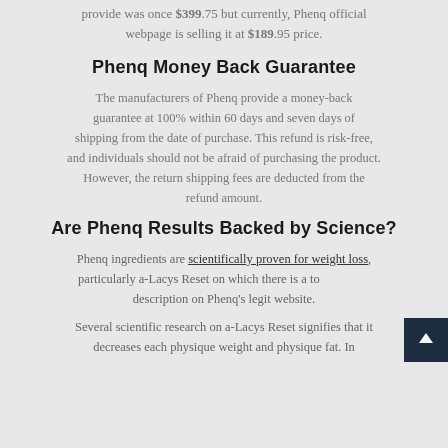provide was once $399.75 but currently, Phenq official webpage is selling it at $189.95 price.
Phenq Money Back Guarantee
The manufacturers of Phenq provide a money-back guarantee at 100% within 60 days and seven days of shipping from the date of purchase. This refund is risk-free, and individuals should not be afraid of purchasing the product. However, the return shipping fees are deducted from the refund amount.
Are Phenq Results Backed by Science?
Phenq ingredients are scientifically proven for weight loss, particularly a-Lacys Reset on which there is a ton description on Phenq's legit website.
Several scientific research on a-Lacys Reset signifies that it decreases each physique weight and physique fat. In